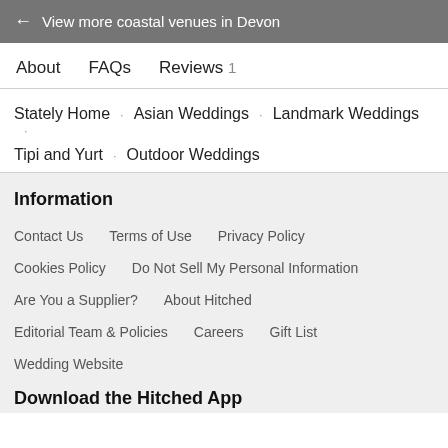← View more coastal venues in Devon
About   FAQs   Reviews 1
Stately Home · Asian Weddings · Landmark Weddings · Tipi and Yurt · Outdoor Weddings
Information
Contact Us   Terms of Use   Privacy Policy
Cookies Policy   Do Not Sell My Personal Information
Are You a Supplier?   About Hitched
Editorial Team & Policies   Careers   Gift List
Wedding Website
Download the Hitched App